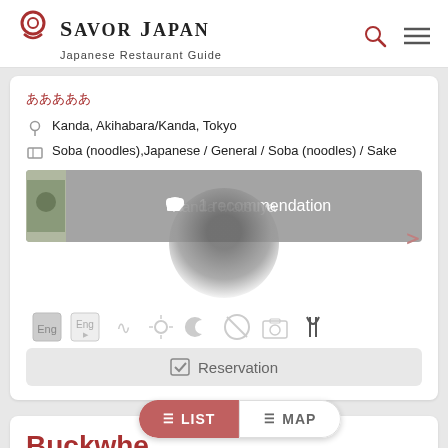SAVOR JAPAN — Japanese Restaurant Guide
神田まつや (Japanese characters)
Kanda, Akihabara/Kanda, Tokyo
Soba (noodles),Japanese / General / Soba (noodles) / Sake
[Figure (screenshot): Restaurant image with 1 recommendation banner overlay and circle graphic, amenity icons row, and Reservation button]
Buckwhe... (partially visible restaurant name)
神田まつや CAZILO